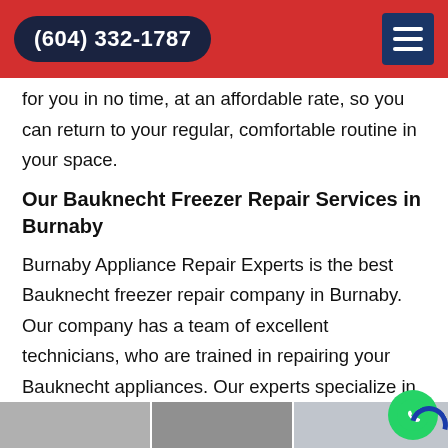(604) 332-1787
for you in no time, at an affordable rate, so you can return to your regular, comfortable routine in your space.
Our Bauknecht Freezer Repair Services in Burnaby
Burnaby Appliance Repair Experts is the best Bauknecht freezer repair company in Burnaby. Our company has a team of excellent technicians, who are trained in repairing your Bauknecht appliances. Our experts specialize in Bauknecht Freezer Repair And Fixing, and we provide twenty-four hours of the best repair services in the city.
[Figure (photo): Bottom strip showing partial images of technicians or appliances]